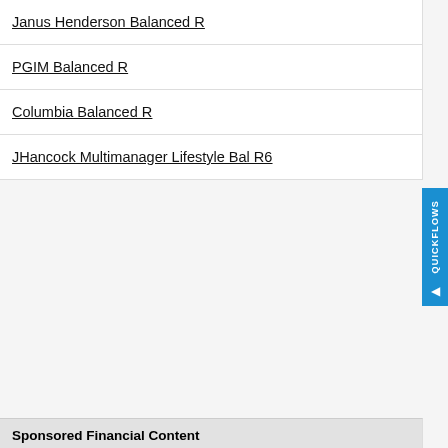Janus Henderson Balanced R
PGIM Balanced R
Columbia Balanced R
JHancock Multimanager Lifestyle Bal R6
Sponsored Financial Content
Read how you might use multi-assets to invest when inflation is high. abrdn
Motley Fool Issues Rare "All In" Buy Alert  The Motley Fool
Your vision is unwavering. Our commitment to your business is too.  Truist C
The 5 Biggest Money Secrets Most Rich People Won't Tell You  The Penny Ho
The Top Attorneys Near You - See The List  Nation